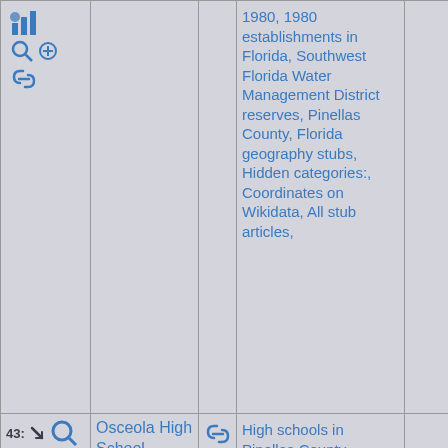| Icons/Actions | Name | Link | Categories | Extra |
| --- | --- | --- | --- | --- |
| [icons: chart, search+, link] |  |  | 1980, 1980 establishments in Florida, Southwest Florida Water Management District reserves, Pinellas County, Florida geography stubs, Hidden categories:, Coordinates on Wikidata, All stub articles, |  |
| 43: 5.8mi [icons: search, helicopter, turn, car, spiral] | Osceola High School (Largo, Florida) | [link icon] | High schools in Pinellas County, Florida, Public high schools in Florida, Hidden |  |